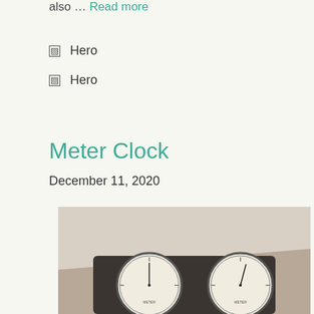also … Read more
Hero
Hero
Meter Clock
December 11, 2020
[Figure (photo): Photo of a Meter Clock device showing two analog meter/gauge faces mounted in a dark housing, set against a beige/cream wall background]